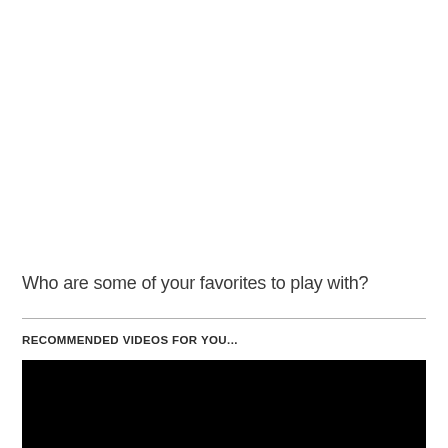Who are some of your favorites to play with?
RECOMMENDED VIDEOS FOR YOU...
[Figure (other): Black video player block at the bottom of the page]